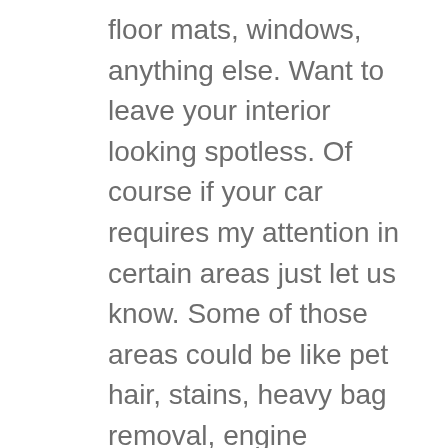floor mats, windows, anything else. Want to leave your interior looking spotless. Of course if your car requires my attention in certain areas just let us know. Some of those areas could be like pet hair, stains, heavy bag removal, engine cleaning, buffing or waxing, paint removal, sticker removal, paint correction, and many many more. We are here for you.
Looking to find Dent repair in St Louis then we had people because we get things done. We offer paint touchup and ceramic coating. We pride ourselves in